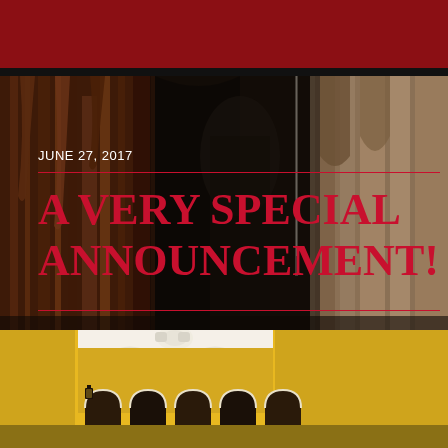[Figure (photo): Cave or cavern interior with dramatic stalactite formations and rocky walls, dark warm tones of brown and orange, with a narrow pathway visible in the background]
JUNE 27, 2017
A VERY SPECIAL ANNOUNCEMENT!
[Figure (photo): Yellow colonial building facade with white ornamental decorations, arched doorways, and a lantern, photographed from below]